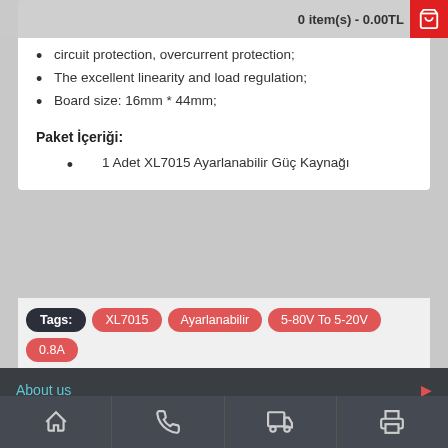0 item(s) - 0.00TL
circuit protection, overcurrent protection;
The excellent linearity and load regulation;
Board size: 16mm * 44mm;
Paket İçeriği:
1 Adet XL7015 Ayarlanabilir Güç Kaynağı
Tags: XL7015  Ayarlanabilir  5-80V To 5-20V  0.8A  Step-Down. Güç Kaynağı
About us
Links